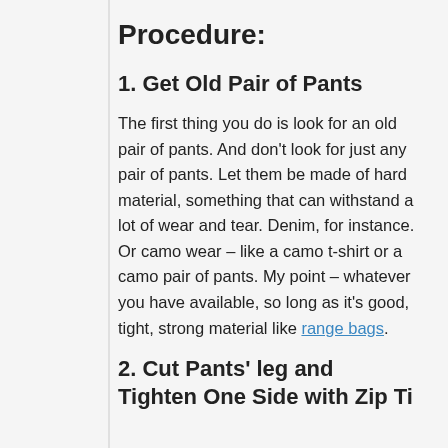Procedure:
1. Get Old Pair of Pants
The first thing you do is look for an old pair of pants. And don't look for just any pair of pants. Let them be made of hard material, something that can withstand a lot of wear and tear. Denim, for instance. Or camo wear – like a camo t-shirt or a camo pair of pants. My point – whatever you have available, so long as it's good, tight, strong material like range bags.
2. Cut Pants' leg and Tighten One Side with Zip Ti…